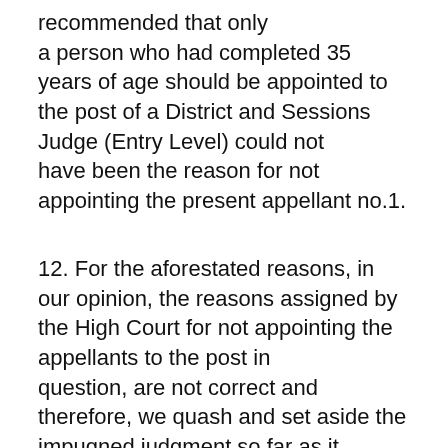recommended that only a person who had completed 35 years of age should be appointed to the post of a District and Sessions Judge (Entry Level) could not have been the reason for not appointing the present appellant no.1.
12. For the aforestated reasons, in our opinion, the reasons assigned by the High Court for not appointing the appellants to the post in question, are not correct and therefore, we quash and set aside the impugned judgment so far as it pertains to the present two appellants.